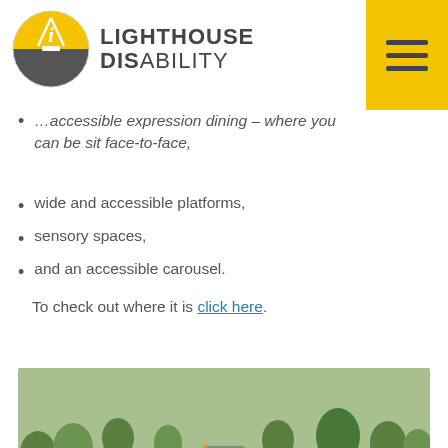Lighthouse Disability
…accessible expression dining – where you can be sit face-to-face,
wide and accessible platforms,
sensory spaces,
and an accessible carousel.
To check out where it is click here.
[Figure (photo): Outdoor accessible playground with sensory water play feature in foreground, trees and play equipment in background on a sunny day.]